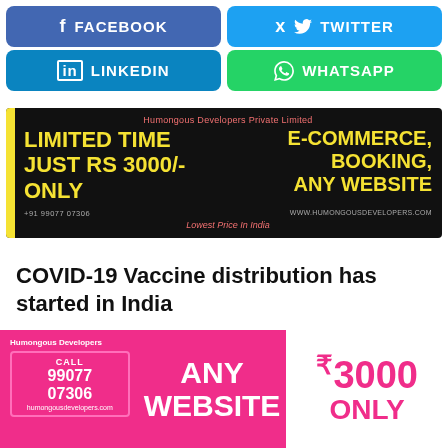[Figure (infographic): Social media share buttons: Facebook (blue), Twitter (cyan), LinkedIn (blue), WhatsApp (green)]
[Figure (infographic): Advertisement banner for Humongous Developers Private Limited. Black background with yellow accent bar. Yellow text: LIMITED TIME JUST RS 3000/- ONLY and E-COMMERCE, BOOKING, ANY WEBSITE. Phone: +91 99077 07306, Website: www.humongousdevelopers.com, Lowest Price In India]
COVID-19 Vaccine distribution has started in India
[Figure (photo): Partial photograph strip, close button visible, NEPAL text visible]
[Figure (infographic): Bottom advertisement for Humongous Developers. Pink background. ANY WEBSITE ₹3000 ONLY. Call 99077 07306. humongousdevelopers.com]